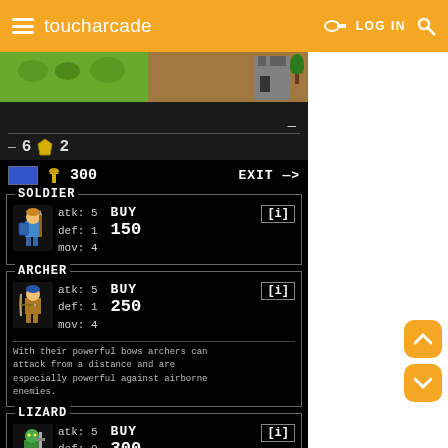toucharcade — LOG IN
[Figure (screenshot): Game screenshot showing a top-down strategy game map with grass and terrain, HUD showing -6 and 2]
[Figure (screenshot): Game UI shop screen showing units for purchase: SOLDIER (atk:5 def:1 mov:4 BUY 150), ARCHER (atk:5 def:1 mov:4 BUY 250) with description 'With their powerful bows archers can attack from a distance and are especially powerful against airborne enemies.', LIZARD (atk:5 def:0 mov:3 BUY 300)]
[Figure (screenshot): Ad banner for GUNSHIP BATTLE x G.I. JOE]